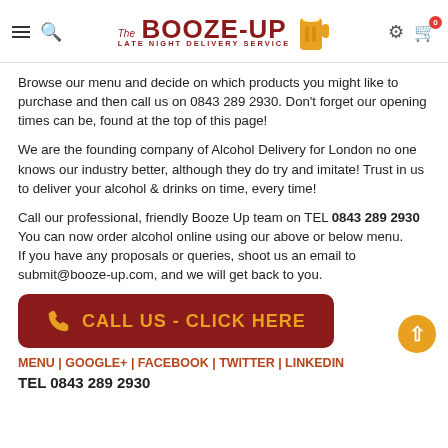Booze-Up — The Late Night Delivery Service
Browse our menu and decide on which products you might like to purchase and then call us on 0843 289 2930. Don't forget our opening times can be, found at the top of this page!
We are the founding company of Alcohol Delivery for London no one knows our industry better, although they do try and imitate! Trust in us to deliver your alcohol & drinks on time, every time!
Call our professional, friendly Booze Up team on TEL 0843 289 2930 You can now order alcohol online using our above or below menu.
If you have any proposals or queries, shoot us an email to submit@booze-up.com, and we will get back to you.
[Figure (other): Dark red rounded button with phone icon and text: CALL US - CLICK HERE in orange]
MENU | GOOGLE+ | FACEBOOK | TWITTER | LINKEDIN
TEL 0843 289 2930